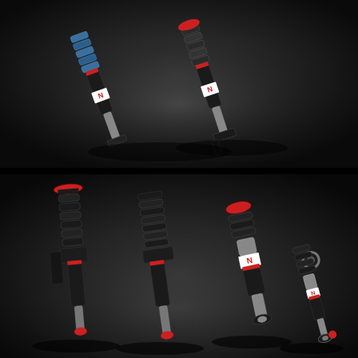[Figure (photo): Two automotive coilover shock absorbers with black bodies, blue and plain coil springs, and red accents, displayed on a dark background. Both units feature white brand labels with a red 'N' logo.]
[Figure (photo): Full set of four automotive coilover suspension units displayed on a dark background. The set includes two front strut assemblies with black coil springs and two rear shock absorbers with springs. All units feature red accents and white brand labels with a red 'N' logo.]